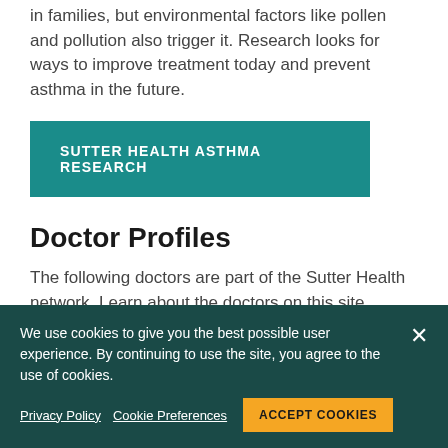in families, but environmental factors like pollen and pollution also trigger it. Research looks for ways to improve treatment today and prevent asthma in the future.
SUTTER HEALTH ASTHMA RESEARCH
Doctor Profiles
The following doctors are part of the Sutter Health network. Learn about the doctors on this site
[Figure (photo): Circular cropped photo of a doctor]
We use cookies to give you the best possible user experience. By continuing to use the site, you agree to the use of cookies.
Privacy Policy   Cookie Preferences   ACCEPT COOKIES